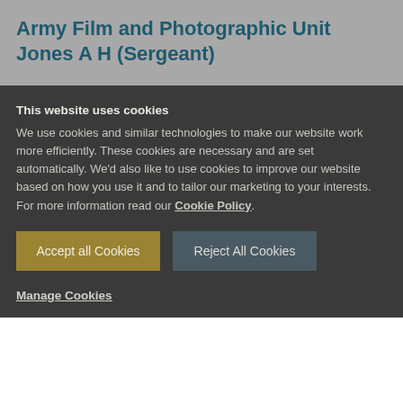Army Film and Photographic Unit Jones A H (Sergeant)
This website uses cookies
We use cookies and similar technologies to make our website work more efficiently. These cookies are necessary and are set automatically. We'd also like to use cookies to improve our website based on how you use it and to tailor our marketing to your interests. For more information read our Cookie Policy.
Accept all Cookies
Reject All Cookies
Manage Cookies